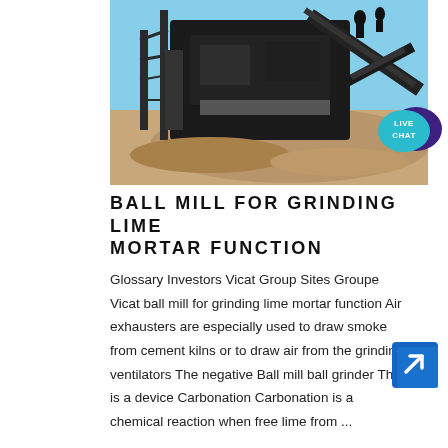[Figure (photo): Photograph of a large industrial ball mill or grinding machine on a construction/mining site, with heavy machinery, scaffolding, and piles of material visible outdoors.]
[Figure (other): Live Chat button badge — teal speech bubble with dark purple speech bubble overlay, text reading LIVE CHAT]
BALL MILL FOR GRINDING LIME MORTAR FUNCTION
Glossary Investors Vicat Group Sites Groupe Vicat ball mill for grinding lime mortar function Air exhausters are especially used to draw smoke from cement kilns or to draw air from the grinding ventilators The negative Ball mill ball grinder This is a device Carbonation Carbonation is a chemical reaction when free lime from ...
[Figure (other): Blue square button with white arrow pointing upper-right (navigation/link icon)]